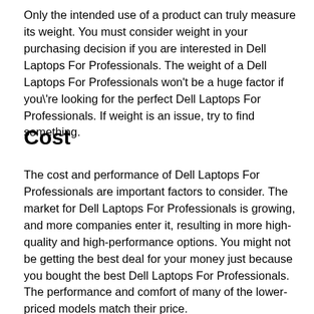Only the intended use of a product can truly measure its weight. You must consider weight in your purchasing decision if you are interested in Dell Laptops For Professionals. The weight of a Dell Laptops For Professionals won't be a huge factor if you\'re looking for the perfect Dell Laptops For Professionals. If weight is an issue, try to find something.
Cost
The cost and performance of Dell Laptops For Professionals are important factors to consider. The market for Dell Laptops For Professionals is growing, and more companies enter it, resulting in more high-quality and high-performance options. You might not be getting the best deal for your money just because you bought the best Dell Laptops For Professionals. The performance and comfort of many of the lower-priced models match their price.